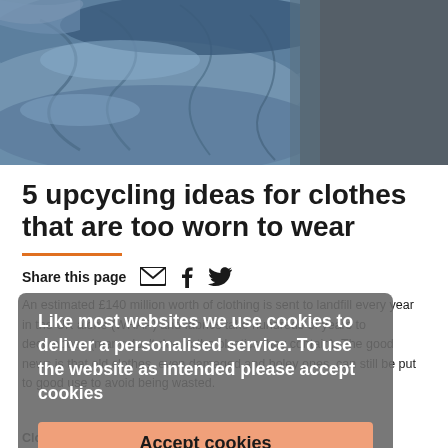[Figure (photo): Stack of folded and crumpled denim jeans and clothing in various shades of blue, against a dark grey background.]
5 upcycling ideas for clothes that are too worn to wear
Share this page
Like most websites we use cookies to deliver a personalised service. To use the website as intended please accept cookies
Accept cookies
An estimated £140 million worth of clothing is sent to landfill every year in the UK alone (WRAP) and fabrics take hundreds of years to decompose (many don't due to the plastics they contain). The good news is that old clothes, even damaged and holey ones, can still be put to good use to avoid being wasted.
Clothes that are damaged, stained or holey may be able to be